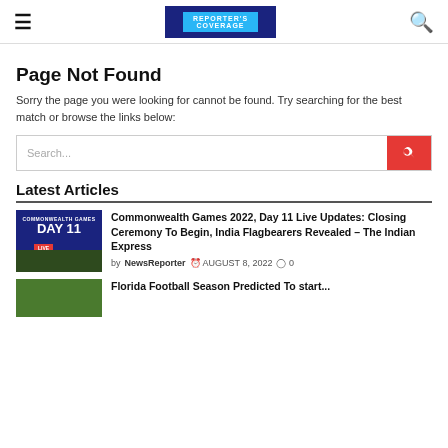≡  [LOGO]  🔍
Page Not Found
Sorry the page you were looking for cannot be found. Try searching for the best match or browse the links below:
Latest Articles
Commonwealth Games 2022, Day 11 Live Updates: Closing Ceremony To Begin, India Flagbearers Revealed – The Indian Express
by NewsReporter  AUGUST 8, 2022  0